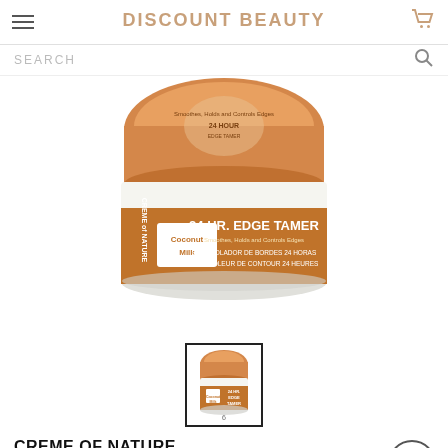DISCOUNT BEAUTY
SEARCH
[Figure (photo): Jar of Creme of Nature Coconut Milk 24 HR. Edge Tamer product with orange lid and label]
[Figure (photo): Thumbnail image of Creme of Nature Coconut Milk 24Hr Edge Tamer product]
CREME OF NATURE
Creme Of Nature Coconut Milk 24Hr Edge Tamer (2.25oz)